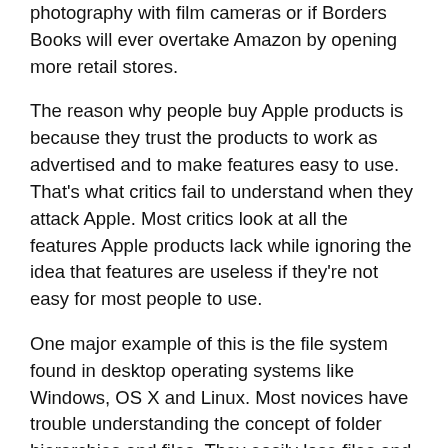photography with film cameras or if Borders Books will ever overtake Amazon by opening more retail stores.
The reason why people buy Apple products is because they trust the products to work as advertised and to make features easy to use. That's what critics fail to understand when they attack Apple. Most critics look at all the features Apple products lack while ignoring the idea that features are useless if they're not easy for most people to use.
One major example of this is the file system found in desktop operating systems like Windows, OS X and Linux. Most novices have trouble understanding the concept of folder hierarchies and files. They easily lose files and forget where they put them. Using a file management program like Windows Explorer or OS X's Finder won't help these people because they don't understand how files and folders work in the first place.
That's why iOS keeps files linked to the app that created them so they can be used to find them and use them.